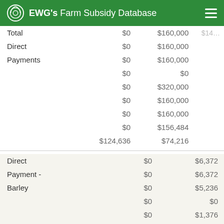EWG's Farm Subsidy Database
|  |  |  |
| --- | --- | --- |
| Total | $0 | $160,000 | $14... |
| Direct | $0 | $160,000 |  |
| Payments | $0 | $160,000 |  |
|  | $0 | $0 |  |
|  | $0 | $320,000 |  |
|  | $0 | $160,000 |  |
|  | $0 | $160,000 |  |
|  | $0 | $156,484 |  |
|  | $124,636 | $74,216 |  |
|  |  |  |
| --- | --- | --- |
| Direct | $0 | $6,372 |  |
| Payment - | $0 | $6,372 |  |
| Barley | $0 | $5,236 |  |
|  | $0 | $0 |  |
|  | $0 | $1,376 |  |
|  | $0 | $816 |  |
|  | $0 | $3,000 |  |